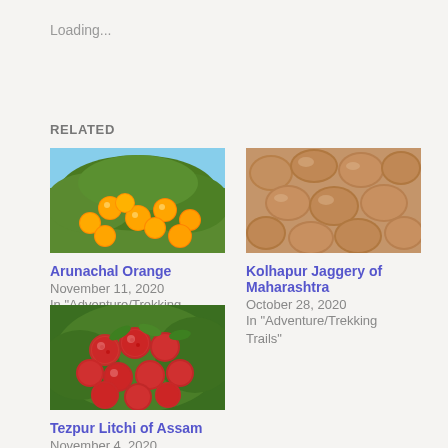Loading...
RELATED
[Figure (photo): Orange fruits hanging on a tree with green leaves and blue sky background]
Arunachal Orange
November 11, 2020
In "Adventure/Trekking Trails"
[Figure (photo): Close-up of dried brown jaggery pieces/nuggets piled together]
Kolhapur Jaggery of Maharashtra
October 28, 2020
In "Adventure/Trekking Trails"
[Figure (photo): Bright red lychee fruits hanging on a tree with green leaves]
Tezpur Litchi of Assam
November 4, 2020